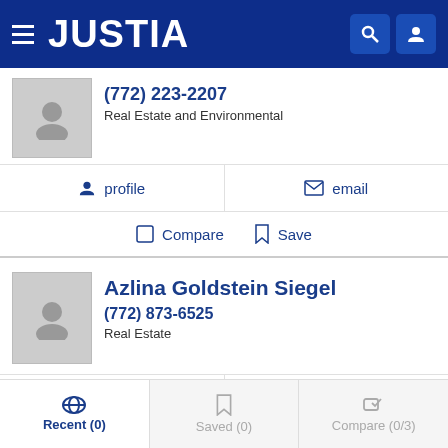JUSTIA
(772) 223-2207
Real Estate and Environmental
profile   email
Compare   Save
Azlina Goldstein Siegel
(772) 873-6525
Real Estate
profile   email
Compare   Save
Recent (0)   Saved (0)   Compare (0/3)